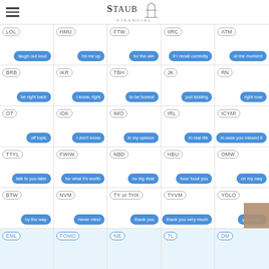Staub Financial
[Figure (infographic): Grid of text message abbreviations with blue chat bubbles showing their meanings. Rows include: LOL/laugh out loud, HMU/hit me up, FTW/for the win, IIRC/if I recall correctly, ATM/at the moment; BRB/be right back, IKR/I know right, TBH/to be honest, JK/just kidding, RN/right now; OT/off topic, IDK/I don't know, IMO/in my opinion, IRL/in real life, ICYMI/in case you missed it; TTYL/talk to you later, FWIW/for what it's worth, NBD/no big deal, HBU/how 'bout you, OMW/on my way; BTW/by the way, NVM/never mind, TY or THX/thank you, TYVM/thank you very much, YOLO/you only...; partial bottom row showing EML, FOMO, NB, TL, DM]